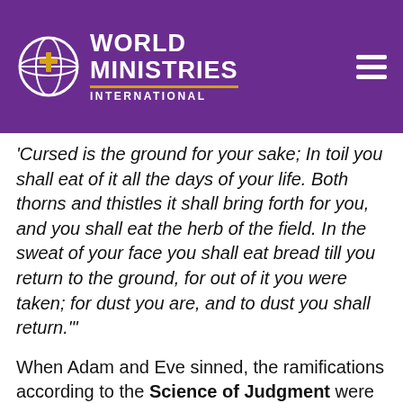[Figure (logo): World Ministries International logo with globe icon on purple background header, hamburger menu icon on right]
'Cursed is the ground for your sake; In toil you shall eat of it all the days of your life. Both thorns and thistles it shall bring forth for you, and you shall eat the herb of the field. In the sweat of your face you shall eat bread till you return to the ground, for out of it you were taken; for dust you are, and to dust you shall return.'"
When Adam and Eve sinned, the ramifications according to the Science of Judgment were instant because they had been living a life full of total grace and mercy. They